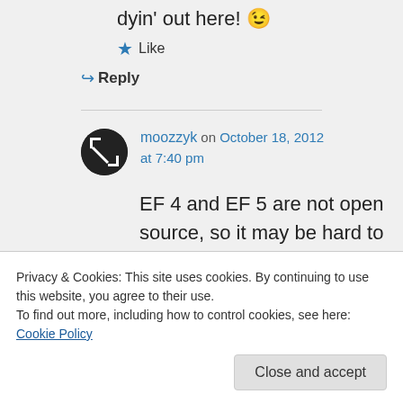dyin' out here! 😉
★ Like
↪ Reply
moozzyk on October 18, 2012 at 7:40 pm
EF 4 and EF 5 are not open source, so it may be hard to port this change (or at least
Privacy & Cookies: This site uses cookies. By continuing to use this website, you agree to their use.
To find out more, including how to control cookies, see here: Cookie Policy